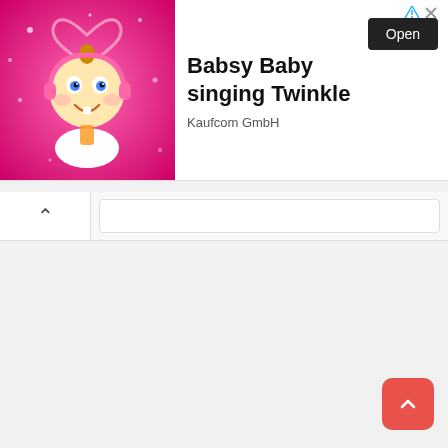[Figure (screenshot): Mobile advertisement banner for 'Babsy Baby singing Twinkle' by Kaufcom GmbH, showing an animated baby cartoon character on a pink sparkly background with a heart shape, with an 'Open' button and ad icons in the top right corner.]
[Figure (screenshot): Browser toolbar with a back/up chevron button on the left and a search/address bar on the right.]
[Figure (screenshot): Scrollable content area (empty/loading) with a red rounded-square scroll-to-top FAB button in the bottom right corner.]